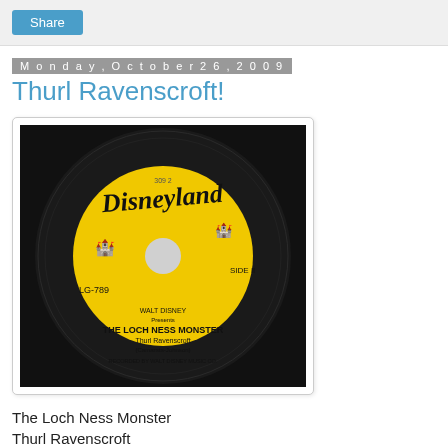Share
Monday, October 26, 2009
Thurl Ravenscroft!
[Figure (photo): A yellow Disneyland Records vinyl 45 single, catalog number LG-789, Side II. The label reads: WALT DISNEY Presents THE LOCH NESS MONSTER, Thurl Ravenscroft, (Camarata-Johnson), RECORDED BY WALT DISNEY MUSIC CO.]
The Loch Ness Monster
Thurl Ravenscroft